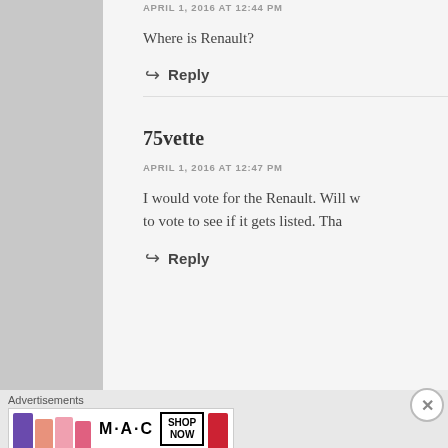APRIL 1, 2016 AT 12:44 PM
Where is Renault?
Reply
75vette
APRIL 1, 2016 AT 12:47 PM
I would vote for the Renault. Will w... to vote to see if it gets listed. Tha...
Reply
Advertisements
[Figure (photo): MAC cosmetics advertisement showing lipsticks with SHOP NOW button]